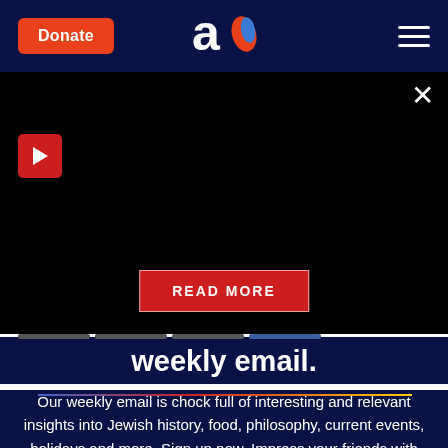Donate | Aish.com logo | Menu
[Figure (screenshot): Black video/media area with red play button on left, close X button top right, and red READ MORE button centered near bottom]
weekly email.
Our weekly email is chock full of interesting and relevant insights into Jewish history, food, philosophy, current events, holidays and more. Sign up now. Impress your friends with how much you know.